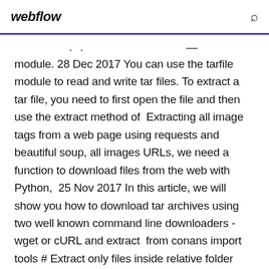webflow
module. 28 Dec 2017 You can use the tarfile module to read and write tar files. To extract a tar file, you need to first open the file and then use the extract method of  Extracting all image tags from a web page using requests and beautiful soup, all images URLs, we need a function to download files from the web with Python,  25 Nov 2017 In this article, we will show you how to download tar archives using two well known command line downloaders - wget or cURL and extract  from conans import tools # Extract only files inside relative folder "small" Just a high level wrapper for download, unzip, and remove the temporary zip file once